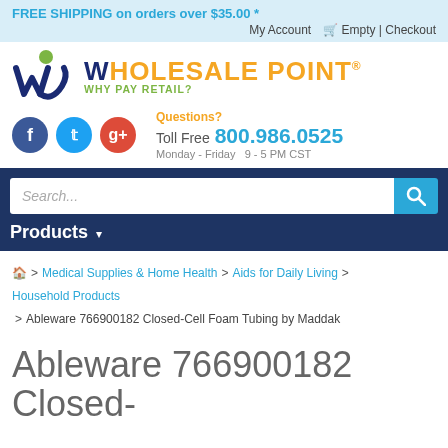FREE SHIPPING on orders over $35.00 *
My Account  Empty | Checkout
[Figure (logo): Wholesale Point logo with stylized WP monogram and tagline WHY PAY RETAIL?]
Questions? Toll Free 800.986.0525 Monday - Friday 9 - 5 PM CST
Search...
Products
Home > Medical Supplies & Home Health > Aids for Daily Living > Household Products > Ableware 766900182 Closed-Cell Foam Tubing by Maddak
Ableware 766900182 Closed-